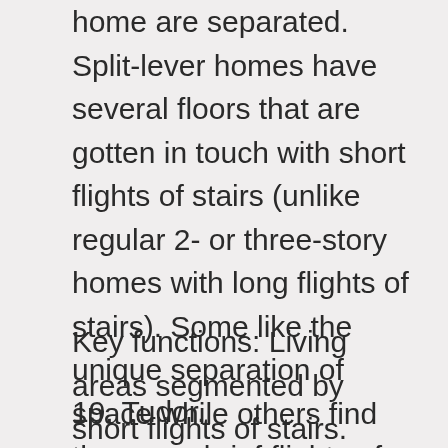home are separated. Split-lever homes have several floors that are gotten in touch with short flights of stairs (unlike regular 2- or three-story homes with long flights of stairs). Some like the unique separation of space while others find the many brief flights of stairs to be cumbersome.
Key functions: Living areas segmented by short flights of stairs.
19. Tudor.